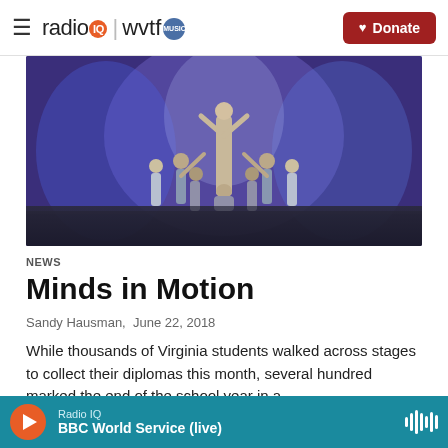radio IQ | wvtf MUSIC — Donate
[Figure (photo): Group of children/students performing a dance on a stage with blue lighting, forming a pyramid-like formation]
News
Minds in Motion
Sandy Hausman,  June 22, 2018
While thousands of Virginia students walked across stages to collect their diplomas this month, several hundred marked the end of the school year in a
Radio IQ — BBC World Service (live)